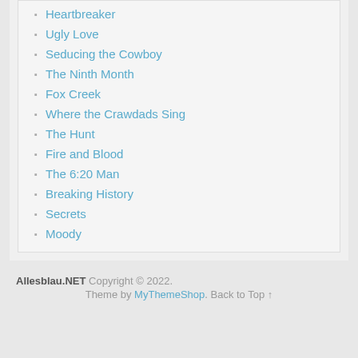Heartbreaker
Ugly Love
Seducing the Cowboy
The Ninth Month
Fox Creek
Where the Crawdads Sing
The Hunt
Fire and Blood
The 6:20 Man
Breaking History
Secrets
Moody
Allesblau.NET Copyright © 2022. Theme by MyThemeShop. Back to Top ↑